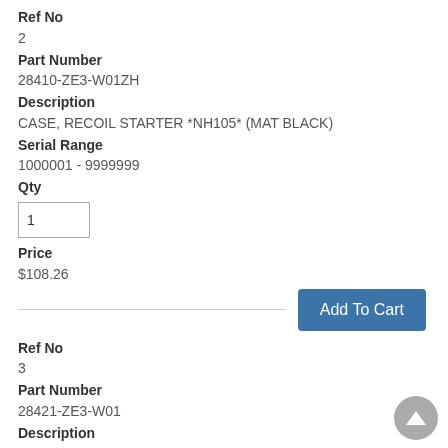Ref No
2
Part Number
28410-ZE3-W01ZH
Description
CASE, RECOIL STARTER *NH105* (MAT BLACK)
Serial Range
1000001 - 9999999
Qty
Price
$108.26
Add To Cart
Ref No
3
Part Number
28421-ZE3-W01
Description
PULLEY, RECOIL STARTER